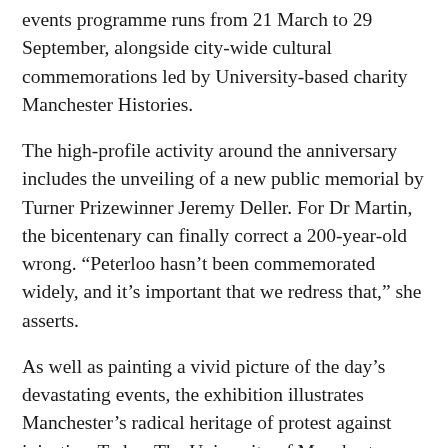events programme runs from 21 March to 29 September, alongside city-wide cultural commemorations led by University-based charity Manchester Histories.
The high-profile activity around the anniversary includes the unveiling of a new public memorial by Turner Prizewinner Jeremy Deller. For Dr Martin, the bicentenary can finally correct a 200-year-old wrong. “Peterloo hasn’t been commemorated widely, and it’s important that we redress that,” she asserts.
As well as painting a vivid picture of the day’s devastating events, the exhibition illustrates Manchester’s radical heritage of protest against injustice. Today, The University of Manchester remains unique in higher education for holding social responsibility as a core goal, with global inequalities as one of its research beacons.
“However horrible Peterloo was, it played a crucial part